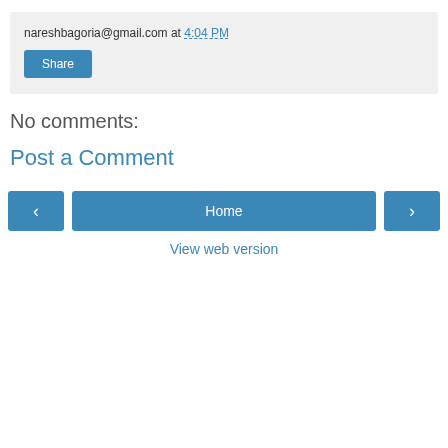nareshbagoria@gmail.com at 4:04 PM
Share
No comments:
Post a Comment
‹
Home
›
View web version